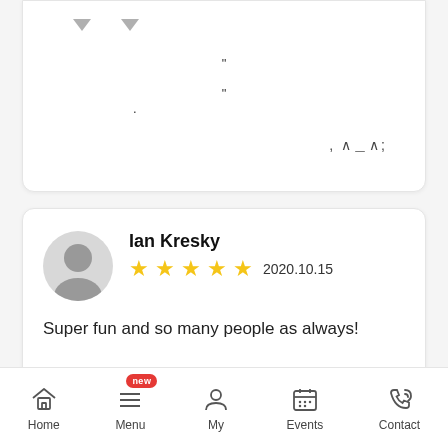[Figure (screenshot): Partial top card with dropdown arrows and decorative text symbols]
Ian Kresky
★★★★★ 2020.10.15
Super fun and so many people as always!
□□
★★★★½ 2020.10.28
Home  Menu  My  Events  Contact